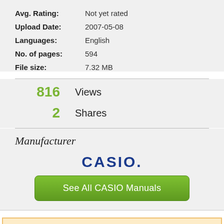Avg. Rating: Not yet rated
Upload Date: 2007-05-08
Languages: English
No. of pages: 594
File size: 7.32 MB
816 Views
2 Shares
Manufacturer
[Figure (logo): CASIO logo in bold blue text]
See All CASIO Manuals
Recent Review